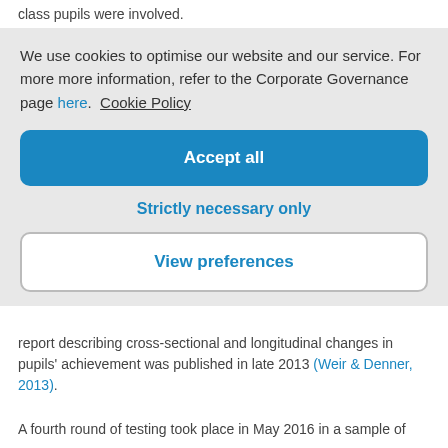class pupils were involved.
We use cookies to optimise our website and our service. For more more information, refer to the Corporate Governance page here.  Cookie Policy
Accept all
Strictly necessary only
View preferences
report describing cross-sectional and longitudinal changes in pupils' achievement was published in late 2013 (Weir & Denner, 2013).
A fourth round of testing took place in May 2016 in a sample of